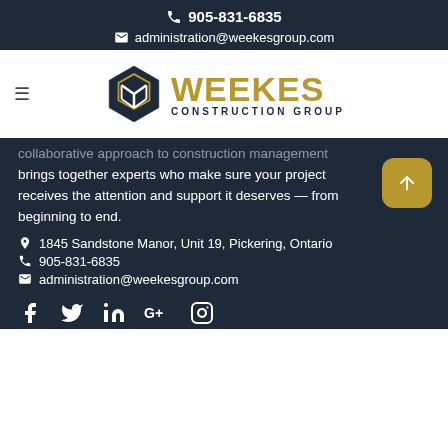905-831-6835
administration@weekesgroup.com
[Figure (logo): Weekes Construction Group logo with geometric WCG icon and gold/navy text]
collaborative approach to construction management brings together experts who make sure your project receives the attention and support it deserves — from beginning to end.
1845 Sandstone Manor, Unit 19, Pickering, Ontario
905-831-6835
administration@weekesgroup.com
[Figure (infographic): Social media icons: Facebook, Twitter, LinkedIn, Google+, Instagram]